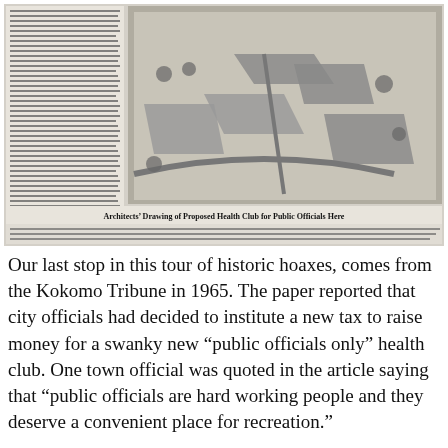[Figure (photo): Scanned newspaper clipping with an architect's drawing of a proposed health club for public officials, with caption 'Architects' Drawing of Proposed Health Club for Public Officials Here'. The clipping includes columns of newspaper text.]
Our last stop in this tour of historic hoaxes, comes from the Kokomo Tribune in 1965. The paper reported that city officials had decided to institute a new tax to raise money for a swanky new "public officials only" health club. One town official was quoted in the article saying that "public officials are hard working people and they deserve a convenient place for recreation."